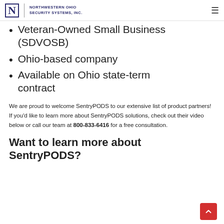Northwestern Ohio Security Systems, Inc.
Veteran-Owned Small Business (SDVOSB)
Ohio-based company
Available on Ohio state-term contract
We are proud to welcome SentryPODS to our extensive list of product partners! If you’d like to learn more about SentryPODS solutions, check out their video below or call our team at 800-833-6416 for a free consultation.
Want to learn more about SentryPODS?